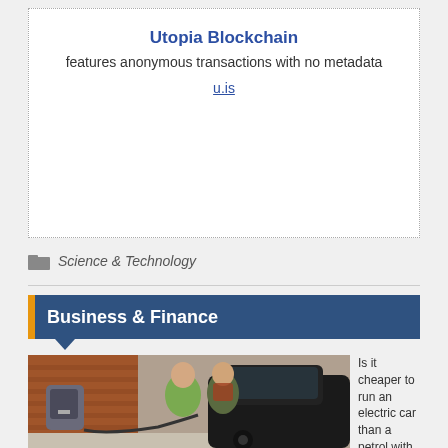Utopia Blockchain
features anonymous transactions with no metadata
u.is
Science & Technology
Business & Finance
[Figure (photo): Two women standing next to a dark electric car plugged into a wall-mounted charging unit outside a brick building]
Is it cheaper to run an electric car than a petrol with rising?